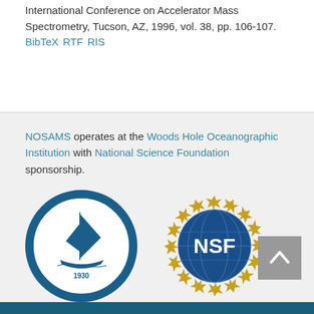International Conference on Accelerator Mass Spectrometry, Tucson, AZ, 1996, vol. 38, pp. 106-107. BibTeX RTF RIS
NOSAMS operates at the Woods Hole Oceanographic Institution with National Science Foundation sponsorship.
[Figure (logo): Woods Hole Oceanographic Institution circular logo with a sailboat and text around the border, founded 1930]
[Figure (logo): National Science Foundation (NSF) circular logo with globe and gold star border]